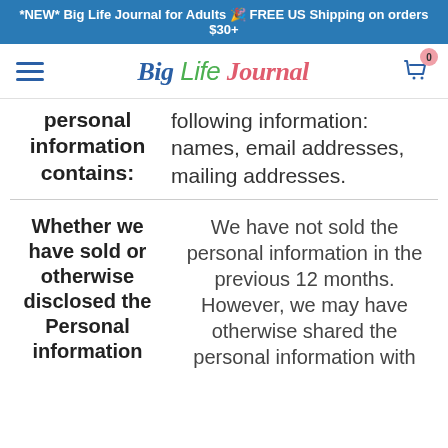*NEW* Big Life Journal for Adults 🎉 FREE US Shipping on orders $30+
[Figure (other): Big Life Journal website navigation bar with hamburger menu, logo, and cart icon showing 0 items]
|  |  |
| --- | --- |
| personal information contains: | following information: names, email addresses, mailing addresses. |
| Whether we have sold or otherwise disclosed the Personal information | We have not sold the personal information in the previous 12 months. However, we may have otherwise shared the personal information with |